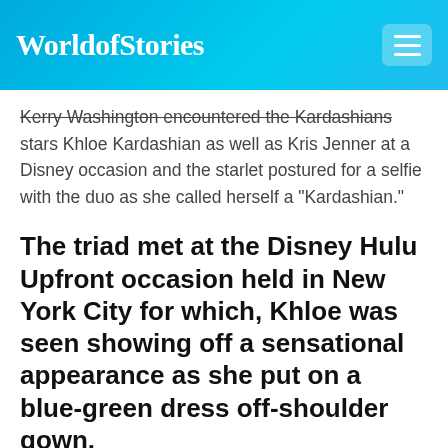WorldofStories
Kerry Washington encountered the Kardashians stars Khloe Kardashian as well as Kris Jenner at a Disney occasion and the starlet postured for a selfie with the duo as she called herself a "Kardashian."
The triad met at the Disney Hulu Upfront occasion held in New York City for which, Khloe was seen showing off a sensational appearance as she put on a blue-green dress off-shoulder gown.